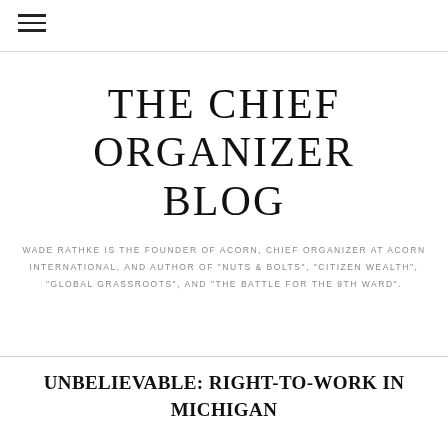☰
THE CHIEF ORGANIZER BLOG
WADE RATHKE IS THE FOUNDER OF ACORN, CHIEF ORGANIZER AT ACORN INTERNATIONAL, AND AUTHOR OF "NUTS & BOLTS", "CITIZEN WEALTH", "GLOBAL GRASSROOTS", AND "THE BATTLE FOR THE 9TH WARD".
UNBELIEVABLE: RIGHT-TO-WORK IN MICHIGAN